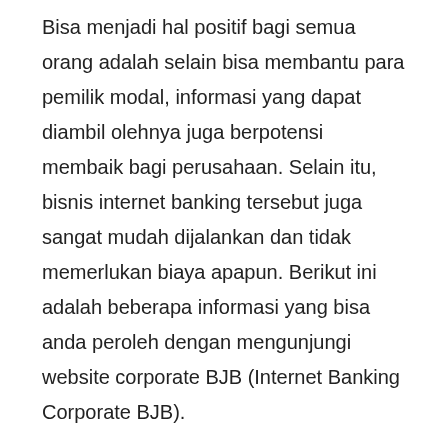Bisa menjadi hal positif bagi semua orang adalah selain bisa membantu para pemilik modal, informasi yang dapat diambil olehnya juga berpotensi membaik bagi perusahaan. Selain itu, bisnis internet banking tersebut juga sangat mudah dijalankan dan tidak memerlukan biaya apapun. Berikut ini adalah beberapa informasi yang bisa anda peroleh dengan mengunjungi website corporate BJB (Internet Banking Corporate BJB).
Informasi Internet Banking Corporate BJB adalah informasi mengenai deposit dan penarikan uang yang disediakan oleh Bank Indonesia. Informasi ini berisi data paling banyak transaksi yang dilakukan oleh bank-bank Indonesia pada tahun 2017. Selain itu, informasi ini juga